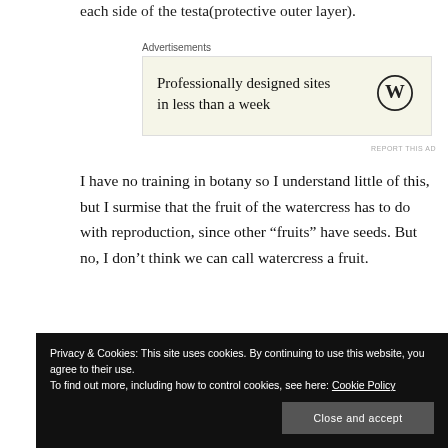each side of the testa(protective outer layer).
Advertisements
[Figure (other): WordPress advertisement banner: 'Professionally designed sites in less than a week' with WordPress logo]
REPORT THIS AD
I have no training in botany so I understand little of this, but I surmise that the fruit of the watercress has to do with reproduction, since other “fruits” have seeds. But no, I don’t think we can call watercress a fruit.
[Figure (illustration): Partial illustration of watercress plant at bottom of page]
Privacy & Cookies: This site uses cookies. By continuing to use this website, you agree to their use.
To find out more, including how to control cookies, see here: Cookie Policy
Close and accept